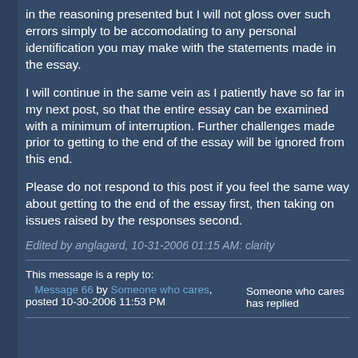in the reasoning presented but I will not gloss over such errors simply to be accomodating to any personal identification you may make with the statements made in the essay.
I will continue in the same vein as I patiently have so far in my next post, so that the entire essay can be examined with a minimum of interruption. Further challenges made prior to getting to the end of the essay will be ignored from this end.
Please do not respond to this post if you feel the same way about getting to the end of the essay first, then taking on issues raised by the responses second.
Edited by anglagard, 10-31-2006 01:15 AM: clarity
This message is a reply to: Message 66 by Someone who cares, posted 10-30-2006 11:53 PM | Someone who cares has replied